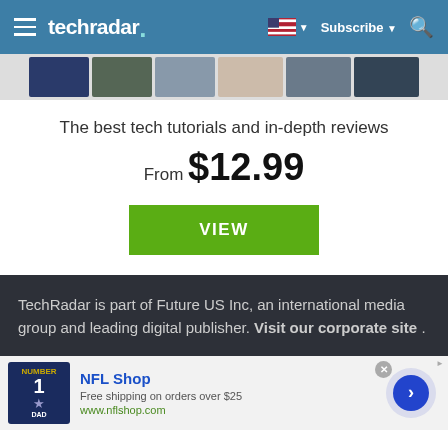techradar | Subscribe
[Figure (photo): Banner strip showing magazine thumbnails/images]
The best tech tutorials and in-depth reviews
From $12.99
VIEW
TechRadar is part of Future US Inc, an international media group and leading digital publisher. Visit our corporate site .
[Figure (photo): NFL Shop advertisement showing a Cowboys jersey with text: NFL Shop, Free shipping on orders over $25, www.nflshop.com]